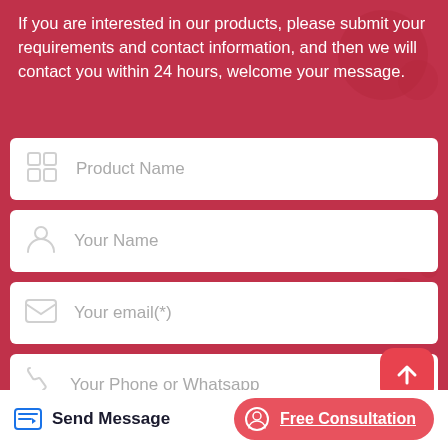If you are interested in our products, please submit your requirements and contact information, and then we will contact you within 24 hours, welcome your message.
[Figure (screenshot): Web contact form with fields for Product Name, Your Name, Your email(*), Your Phone or Whatsapp, and a partially visible field below. Each field has a placeholder icon on the left.]
[Figure (other): Scroll-to-top button with upward arrow, pink/red rounded square icon]
Send Message
Free Consultation